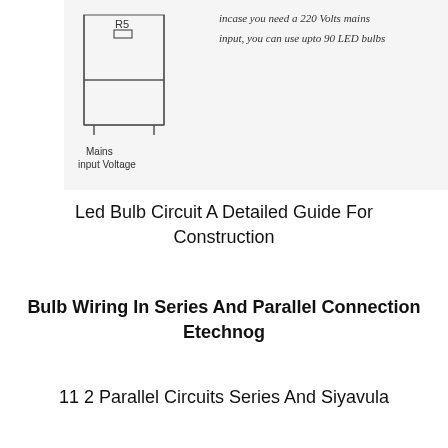[Figure (circuit-diagram): Hand-drawn LED bulb circuit diagram showing R5 resistor, Mains input Voltage label, with handwritten note about 220V mains input and up to 90 LED bulbs]
Led Bulb Circuit A Detailed Guide For Construction
Bulb Wiring In Series And Parallel Connection Etechnog
11 2 Parallel Circuits Series And Siyavula